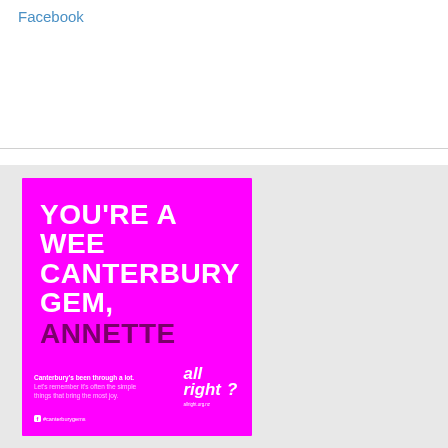Facebook
[Figure (illustration): A magenta/hot pink advertisement card reading 'YOU'RE A WEE CANTERBURY GEM, ANNETTE' with the All Right? campaign logo and text 'Canterbury's been through a lot. Let's remember it's often the simple things that bring the most joy.' with a Facebook tag '#canterburygems' and the allright.org.nz URL.]